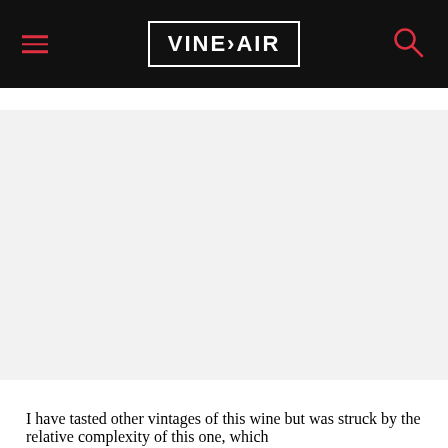VINEPAIR
[Figure (photo): Large image placeholder area with light gray background]
I have tasted other vintages of this wine but was struck by the relative complexity of this one, which